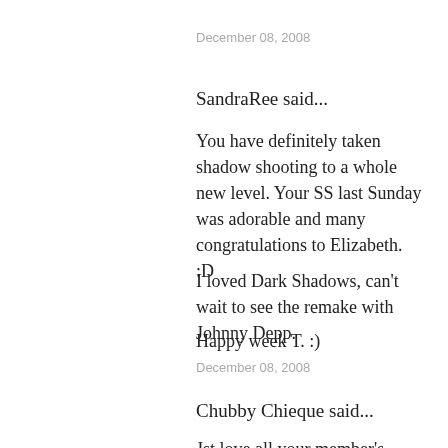December 08, 2008
SandraRee said...
You have definitely taken shadow shooting to a whole new level. Your SS last Sunday was adorable and many congratulations to Elizabeth. :D
I loved Dark Shadows, can't wait to see the remake with Johnny Depp.
Happy week T. :)
December 08, 2008
Chubby Chieque said...
Jst love all your member's SSS... Urs isn't bad either.
I never thought that shadows will be a big issue, till now. I love them!